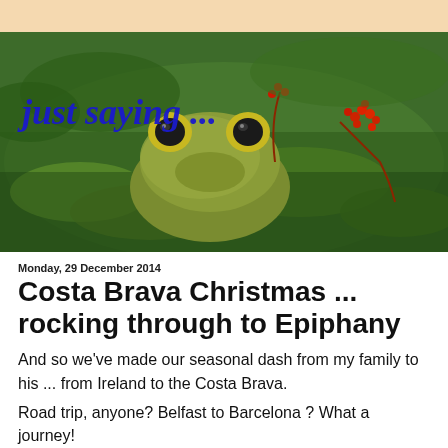[Figure (photo): Close-up photo of a frog partially submerged in green water with aquatic plants and red berries, with the blog title 'just saying ...' overlaid in blue text]
Monday, 29 December 2014
Costa Brava Christmas ... rocking through to Epiphany
And so we've made our seasonal dash from my family to his ... from Ireland to the Costa Brava.
Road trip, anyone? Belfast to Barcelona ? What a journey!